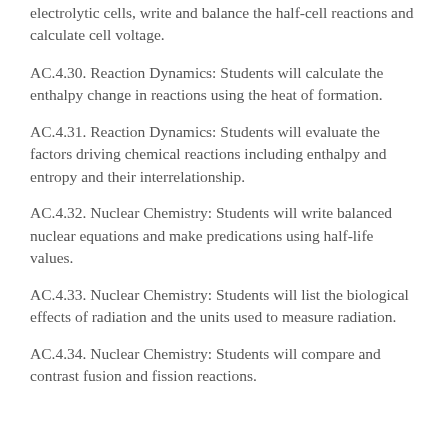electrolytic cells, write and balance the half-cell reactions and calculate cell voltage.
AC.4.30. Reaction Dynamics: Students will calculate the enthalpy change in reactions using the heat of formation.
AC.4.31. Reaction Dynamics: Students will evaluate the factors driving chemical reactions including enthalpy and entropy and their interrelationship.
AC.4.32. Nuclear Chemistry: Students will write balanced nuclear equations and make predications using half-life values.
AC.4.33. Nuclear Chemistry: Students will list the biological effects of radiation and the units used to measure radiation.
AC.4.34. Nuclear Chemistry: Students will compare and contrast fusion and fission reactions.